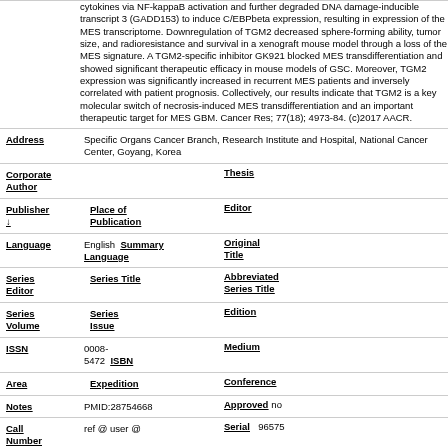cytokines via NF-kappaB activation and further degraded DNA damage-inducible transcript 3 (GADD153) to induce C/EBPbeta expression, resulting in expression of the MES transcriptome. Downregulation of TGM2 decreased sphere-forming ability, tumor size, and radioresistance and survival in a xenograft mouse model through a loss of the MES signature. A TGM2-specific inhibitor GK921 blocked MES transdifferentiation and showed significant therapeutic efficacy in mouse models of GSC. Moreover, TGM2 expression was significantly increased in recurrent MES patients and inversely correlated with patient prognosis. Collectively, our results indicate that TGM2 is a key molecular switch of necrosis-induced MES transdifferentiation and an important therapeutic target for MES GBM. Cancer Res; 77(18); 4973-84. (c)2017 AACR.
Address: Specific Organs Cancer Branch, Research Institute and Hospital, National Cancer Center, Goyang, Korea
Corporate Author | Thesis
Publisher ↓ | Place of Publication | Editor
Language: English | Summary Language | Original Title
Series Editor | Series Title | Abbreviated Series Title
Series Volume | Series Issue | Edition
ISSN: 0008-5472 | ISBN | Medium
Area | Expedition | Conference
Notes: PMID:28754668 | Approved: no
Call Number: ref @ user @ | Serial: 96575